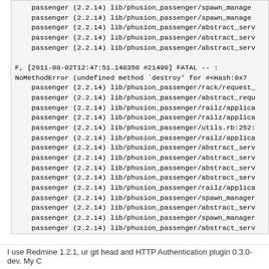passenger (2.2.14) lib/phusion_passenger/spawn_manager
    passenger (2.2.14) lib/phusion_passenger/spawn_manager
    passenger (2.2.14) lib/phusion_passenger/abstract_serv
    passenger (2.2.14) lib/phusion_passenger/abstract_serv
    passenger (2.2.14) lib/phusion_passenger/abstract_serv

F, [2011-08-02T12:47:51.140350 #21490] FATAL -- :
NoMethodError (undefined method `destroy' for #<Hash:0x7
    passenger (2.2.14) lib/phusion_passenger/rack/request_
    passenger (2.2.14) lib/phusion_passenger/abstract_requ
    passenger (2.2.14) lib/phusion_passenger/railz/applica
    passenger (2.2.14) lib/phusion_passenger/railz/applica
    passenger (2.2.14) lib/phusion_passenger/utils.rb:252:
    passenger (2.2.14) lib/phusion_passenger/railz/applica
    passenger (2.2.14) lib/phusion_passenger/abstract_serv
    passenger (2.2.14) lib/phusion_passenger/abstract_serv
    passenger (2.2.14) lib/phusion_passenger/abstract_serv
    passenger (2.2.14) lib/phusion_passenger/abstract_serv
    passenger (2.2.14) lib/phusion_passenger/railz/applica
    passenger (2.2.14) lib/phusion_passenger/spawn_manager
    passenger (2.2.14) lib/phusion_passenger/abstract_serv
    passenger (2.2.14) lib/phusion_passenger/spawn_manager
    passenger (2.2.14) lib/phusion_passenger/abstract_serv
    passenger (2.2.14) lib/phusion_passenger/abstract_serv
    passenger (2.2.14) lib/phusion_passenger/spawn_manager
    passenger (2.2.14) lib/phusion_passenger/spawn_manager
    passenger (2.2.14) lib/phusion_passenger/spawn_manager
    passenger (2.2.14) lib/phusion_passenger/abstract_serv
    passenger (2.2.14) lib/phusion_passenger/abstract_serv
    passenger (2.2.14) lib/phusion_passenger/abstract_serv
I use Redmine 1.2.1, ur git head and HTTP Authentication plugin 0.3.0-dev. My C